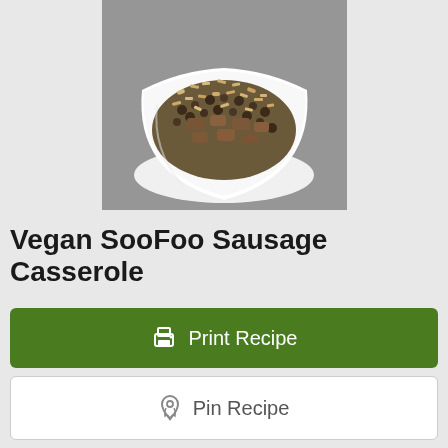[Figure (photo): A white bowl containing Vegan SooFoo Sausage Casserole - a mixture of grains, lentils, and sausage pieces on a gray textured background]
Vegan SooFoo Sausage Casserole
Print Recipe
Pin Recipe
[Figure (illustration): Power/timer icon circle at bottom of page]